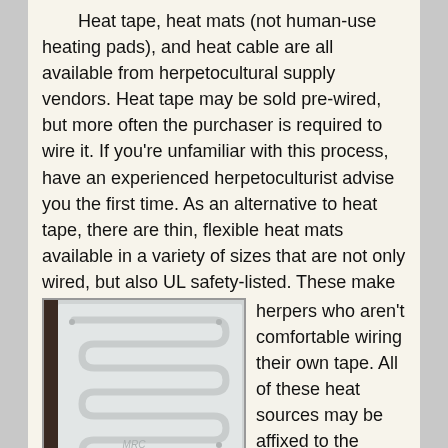Heat tape, heat mats (not human-use heating pads), and heat cable are all available from herpetocultural supply vendors. Heat tape may be sold pre-wired, but more often the purchaser is required to wire it. If you're unfamiliar with this process, have an experienced herpetoculturist advise you the first time. As an alternative to heat tape, there are thin, flexible heat mats available in a variety of sizes that are not only wired, but also UL safety-listed. These make a great alternative for herpers who aren't comfortable wiring their own tape. All of these heat sources may be affixed to the bottom of the cage using adhesive foil tape.
[Figure (photo): A thin flexible heat mat with a serpentine heating element pattern visible inside, showing the MRC brand logo watermark.]
Some purpose-built snake cages even have grooves or slots for the cable or tape. Not only does